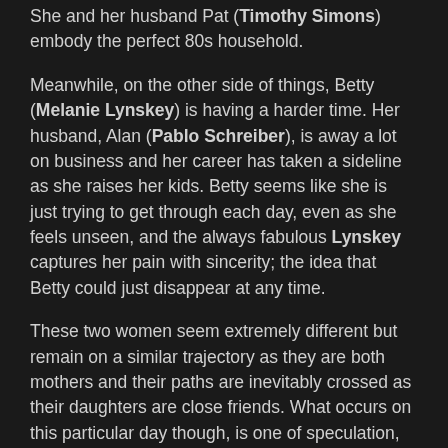She and her husband Pat (Timothy Simons) embody the perfect 80s household.
Meanwhile, on the other side of things, Betty (Melanie Lynskey) is having a harder time. Her husband, Alan (Pablo Schreiber), is away a lot on business and her career has taken a sideline as she raises her kids. Betty seems like she is just trying to get through each day, even as she feels unseen, and the always fabulous Lynskey captures her pain with sincerity; the idea that Betty could just disappear at any time.
These two women seem extremely different but remain on a similar trajectory as they are both mothers and their paths are inevitably crossed as their daughters are close friends. What occurs on this particular day though, is one of speculation, and one that even by its end, never fully feels